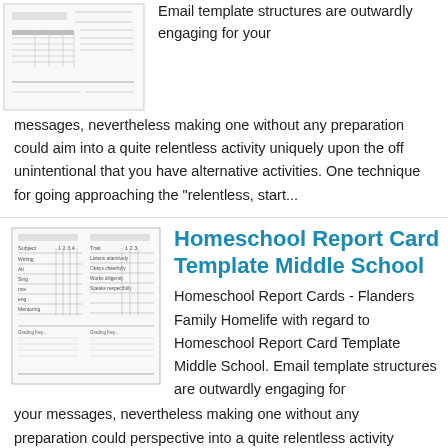[Figure (screenshot): Thumbnail image of a template document showing form fields and lines]
Email template structures are outwardly engaging for your messages, nevertheless making one without any preparation could aim into a quite relentless activity uniquely upon the off unintentional that you have alternative activities. One technique for going approaching the "relentless, start...
[Figure (screenshot): Thumbnail of Homeschool Report Card Template Middle School showing Academic Progress and Conduct Character sections]
Homeschool Report Card Template Middle School
Homeschool Report Cards - Flanders Family Homelife with regard to Homeschool Report Card Template Middle School. Email template structures are outwardly engaging for your messages, nevertheless making one without any preparation could perspective into a quite relentless activity uniquely upon the off unplanned that you have stand-in activities. One technique for going with reference to...